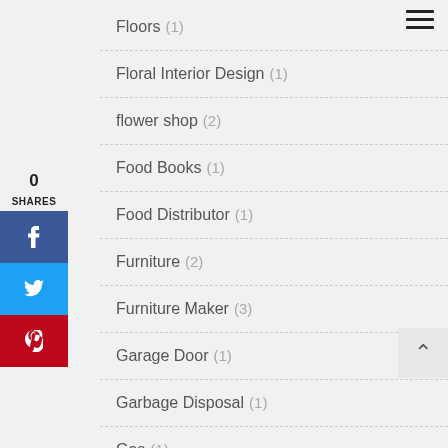Floors (1)
Floral Interior Design (1)
flower shop (2)
Food Books (1)
Food Distributor (1)
Furniture (2)
Furniture Maker (3)
Garage Door (1)
Garbage Disposal (1)
Gas (1)